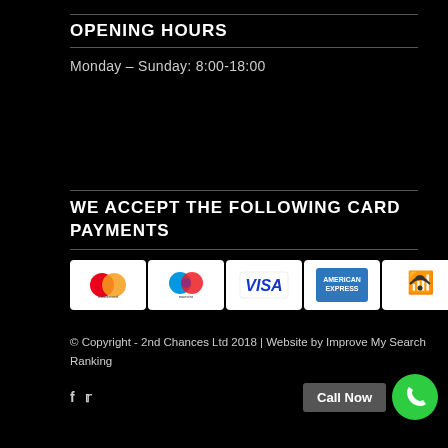OPENING HOURS
Monday – Sunday: 8:00-18:00
WE ACCEPT THE FOLLOWING CARD PAYMENTS
[Figure (other): Payment method logos: Mastercard, Maestro, Visa, American Express, Contactless, Apple Pay, Google Pay]
© Copyright - 2nd Chances Ltd 2018 | Website by Improve My Search Ranking